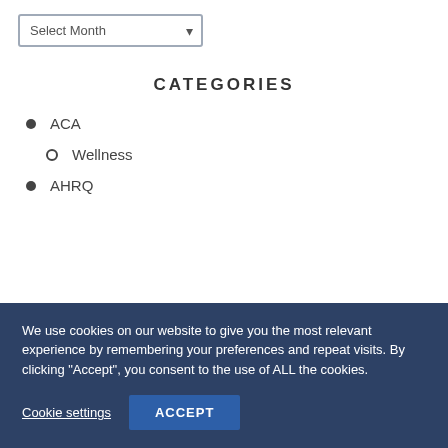Select Month
CATEGORIES
ACA
Wellness
AHRQ
We use cookies on our website to give you the most relevant experience by remembering your preferences and repeat visits. By clicking “Accept”, you consent to the use of ALL the cookies.
Cookie settings
ACCEPT